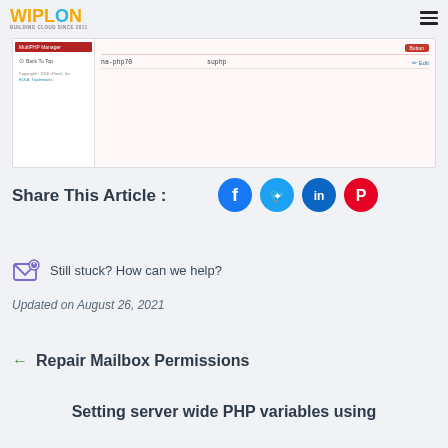WIPLON - BUILDING CLOUD SINCE 2011
[Figure (screenshot): cPanel MultiPHP Manager screenshot showing menu on left with 'MultiPHP Manager' highlighted in red, and a table on right showing 'na-php70' and 'suphp' columns with an Edit link]
Share This Article :
[Figure (infographic): Social media share icons: Facebook (blue circle with f), Twitter (blue circle with bird), LinkedIn (blue circle with in), Pinterest (red circle with P)]
[Figure (illustration): Email support icon - envelope with notification badge]
Still stuck? How can we help?
Updated on August 26, 2021
← Repair Mailbox Permissions
Setting server wide PHP variables using